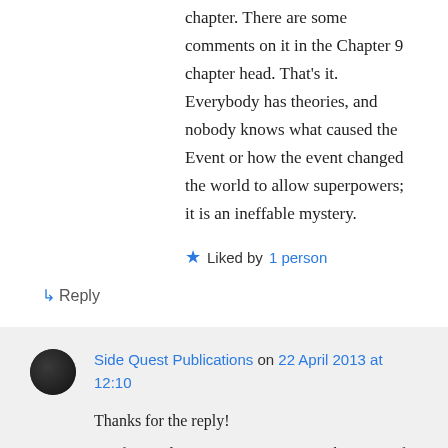chapter. There are some comments on it in the Chapter 9 chapter head. That's it. Everybody has theories, and nobody knows what caused the Event or how the event changed the world to allow superpowers; it is an ineffable mystery.
Liked by 1 person
↳ Reply
Side Quest Publications on 22 April 2013 at 12:10
Thanks for the reply!
My first inclination was to point out that, even if they don't know what caused it, they still ought to know what it IS. However, after